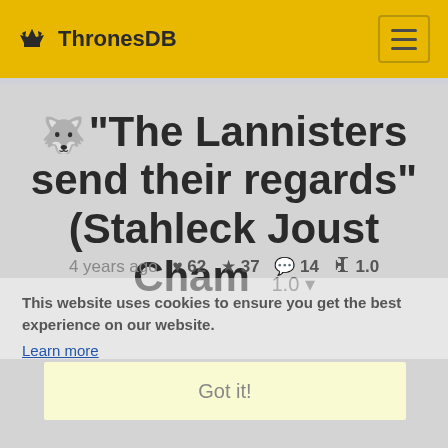ThronesDB
“The Lannisters send their regards” (Stahleck Joust Cham  1.0
4 years ago ♥ 62 ★ 37 💬 14 ⚓ 1.0
This website uses cookies to ensure you get the best experience on our website.
Learn more
Got it!